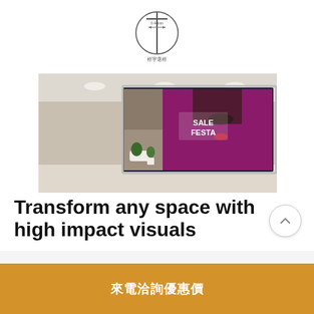[Figure (engineering-diagram): Technical diagram showing a cross-section measurement indicator with a measurement of 0.44mm and Chinese text label below reading 框宇選框]
[Figure (photo): Photo of a large video wall display in a retail space showing a woman with sunglasses and text 'SALE FESTA' on the screen]
Transform any space with high impact visuals
The slender design and 70.4mm cabinet depth provide flexibility for installation and an extreme-narrow 1.8mm bezel-to-bezel width creates a seamless picture opening endless possibilities for designing a captivating visual experience.
來電洽詢優惠價